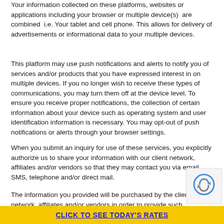Your information collected on these platforms, websites or applications including your browser or multiple device(s)  are combined  i.e. Your tablet and cell phone. This allows for delivery of advertisements or informational data to your multiple devices.
This platform may use push notifications and alerts to notify you of services and/or products that you have expressed interest in on multiple devices. If you no longer wish to receive these types of communications, you may turn them off at the device level. To ensure you receive proper notifications, the collection of certain information about your device such as operating system and user identification information is necessary. You may opt-out of push notifications or alerts through your browser settings.
When you submit an inquiry for use of these services, you explicitly authorize us to share your information with our client network, affiliates and/or vendors so that they may contact you via email, SMS, telephone and/or direct mail.
The information you provided will be purchased by the client network, affiliates and/or vendors in order to provide such...
CLICK TO SEE TODAY'S RATES